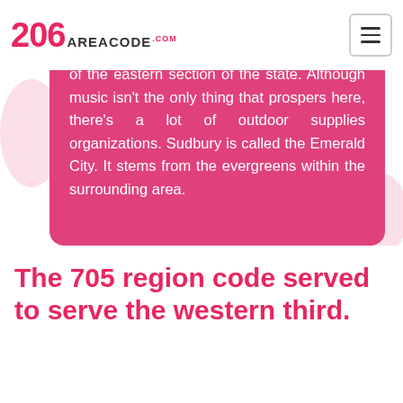206 AREACODE.COM
of the eastern section of the state. Although music isn't the only thing that prospers here, there's a lot of outdoor supplies organizations. Sudbury is called the Emerald City. It stems from the evergreens within the surrounding area.
The 705 region code served to serve the western third.